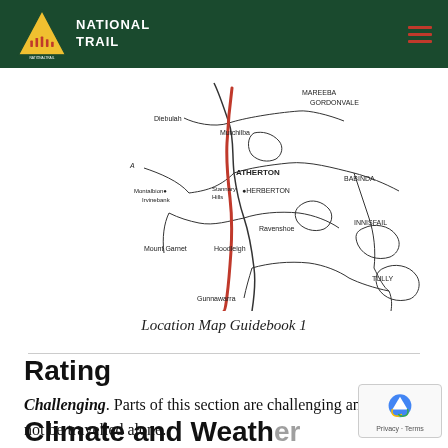National Trail
[Figure (map): Location map showing trail route through Atherton Tablelands area in Queensland, Australia. A red line marks the trail route passing through locations including Gunnawarra, Ravenshoe, Herberton, Atherton, Mutchilba, with surrounding towns like Mareeba, Gordonvale, Babinda, Innisfail, Tully, Mount Garnet, Irvinebank, Diebulah, Stannary Hills, Montalbion.]
Location Map Guidebook 1
Rating
Challenging. Parts of this section are challenging and should not be travelled alone.
Climate and Weather